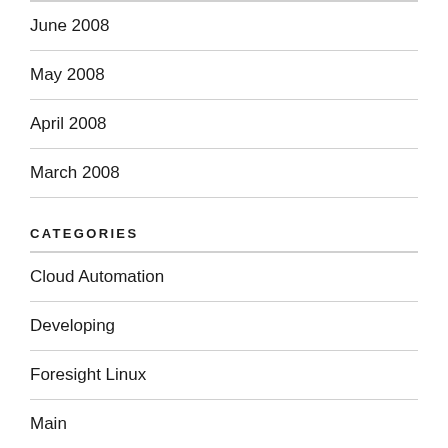June 2008
May 2008
April 2008
March 2008
CATEGORIES
Cloud Automation
Developing
Foresight Linux
Main
Meteor